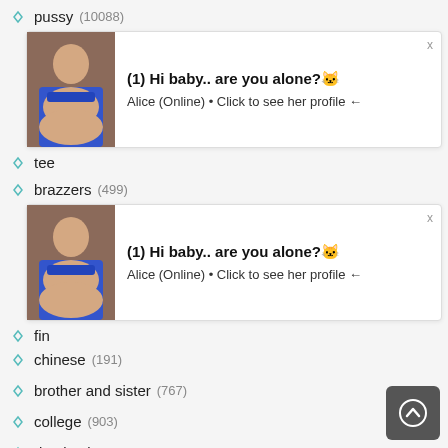pussy (10088)
[Figure (other): Advertisement popup showing a woman in blue bikini with text: (1) Hi baby.. are you alone? Alice (Online) Click to see her profile]
tee [partially hidden]
brazzers (499)
[Figure (other): Advertisement popup showing a woman in blue bikini with text: (1) Hi baby.. are you alone? Alice (Online) Click to see her profile]
fin [partially hidden]
chinese (191)
brother and sister (767)
college (903)
domination (407)
shower (333)